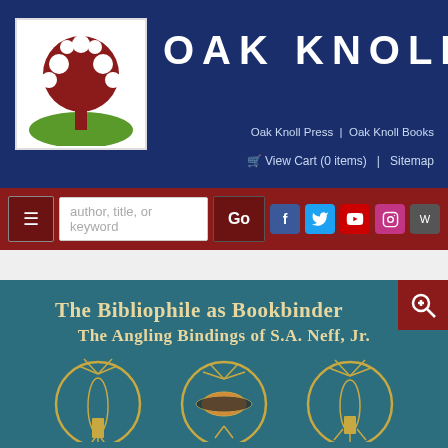[Figure (logo): Oak Knoll logo: red oak tree on white background with green ground, in a square frame]
OAK KNOLL
Oak Knoll Press | Oak Knoll Books
View Cart (0 items) | Sitemap
[Figure (screenshot): Navigation bar with hamburger menu, search box with placeholder 'author, title, or keyword', Go button, and social media icons for Facebook, Twitter, YouTube, Instagram, WordPress]
[Figure (photo): Book cover: 'The Bibliophile as Bookbinder: The Angling Bindings of S.A. Neff, Jr.' on teal/dark teal background with three circular medallions showing decorative fishing fly bookbindings in gold]